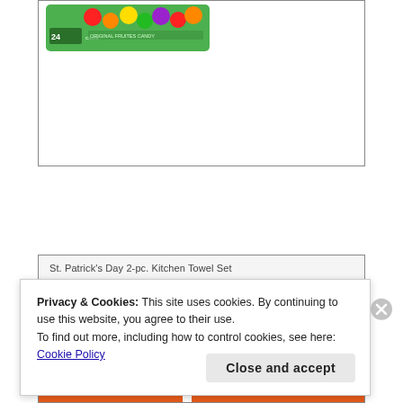[Figure (photo): Green candy box (Skittles-style) with colorful balls and text '24' visible, shown in a bordered product card area at the top of the page.]
St. Patrick's Day 2-pc. Kitchen Towel Set
[Figure (photo): Bottom portion of a product card showing a product (St. Patrick's Day 2-pc. Kitchen Towel Set) partially visible with an orange bar at the bottom.]
Privacy & Cookies: This site uses cookies. By continuing to use this website, you agree to their use.
To find out more, including how to control cookies, see here:
Cookie Policy
Close and accept